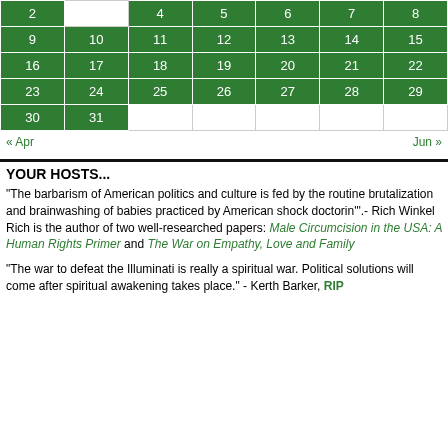|  |  |  |  |  |  |  |
| --- | --- | --- | --- | --- | --- | --- |
| 2 | 3 | 4 | 5 | 6 | 7 | 8 |
| 9 | 10 | 11 | 12 | 13 | 14 | 15 |
| 16 | 17 | 18 | 19 | 20 | 21 | 22 |
| 23 | 24 | 25 | 26 | 27 | 28 | 29 |
| 30 | 31 |  |  |  |  |  |
« Apr    Jun »
YOUR HOSTS...
"The barbarism of American politics and culture is fed by the routine brutalization and brainwashing of babies practiced by American shock doctorin'".- Rich Winkel
Rich is the author of two well-researched papers: Male Circumcision in the USA: A Human Rights Primer and The War on Empathy, Love and Family
"The war to defeat the Illuminati is really a spiritual war. Political solutions will come after spiritual awakening takes place." - Kerth Barker, RIP